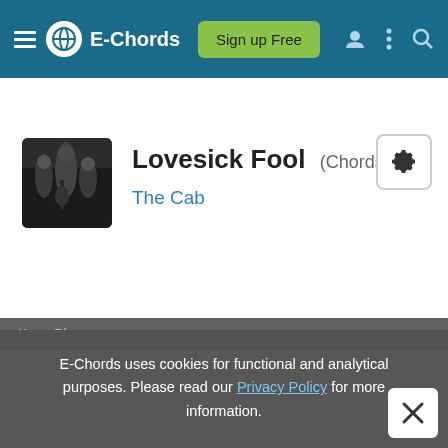E-Chords — Sign up Free
Lovesick Fool (Chords)
The Cab
[Figure (screenshot): Album art thumbnail showing band members with instruments on dark background]
E-Chords uses cookies for functional and analytical purposes. Please read our Privacy Policy for more information.